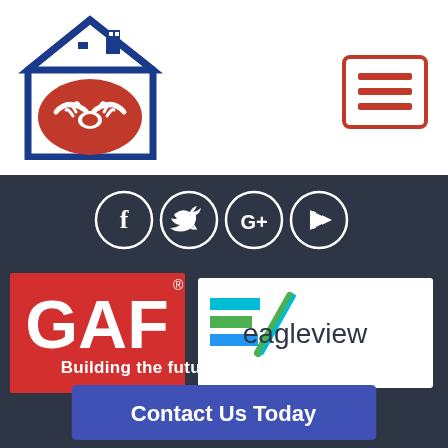[Figure (logo): Company logo: house icon with handshake in red, white, and blue colors]
[Figure (logo): Hamburger menu icon in red border square]
[Figure (infographic): Social media icons: Facebook, Twitter, Google+, YouTube - white on dark circles]
[Figure (logo): GAF logo (red square with white text) and EagleView logo side by side]
Building the future. Restoring the past. Making your work smarter.
[Figure (other): Contact Us Today button - blue rectangle with white text]